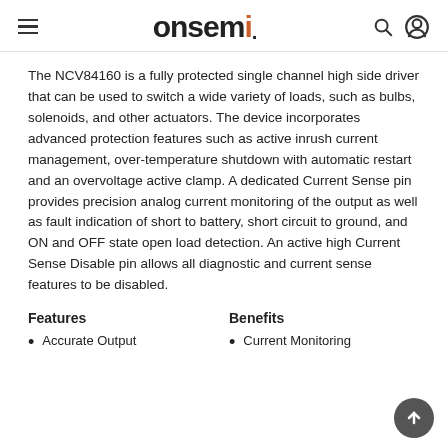onsemi
The NCV84160 is a fully protected single channel high side driver that can be used to switch a wide variety of loads, such as bulbs, solenoids, and other actuators. The device incorporates advanced protection features such as active inrush current management, over-temperature shutdown with automatic restart and an overvoltage active clamp. A dedicated Current Sense pin provides precision analog current monitoring of the output as well as fault indication of short to battery, short circuit to ground, and ON and OFF state open load detection. An active high Current Sense Disable pin allows all diagnostic and current sense features to be disabled.
Features
Benefits
Accurate Output
Current Monitoring